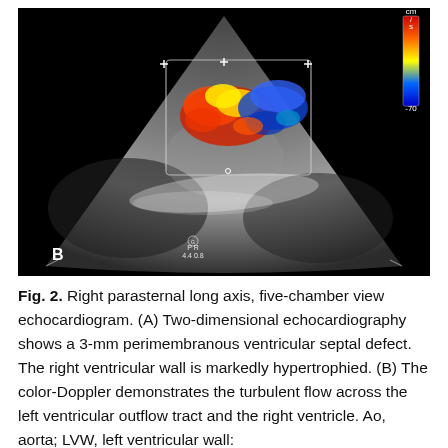[Figure (photo): Echocardiogram image (panel B): Right parasternal long axis five-chamber view with color-Doppler showing turbulent flow in red, yellow, and blue across the cardiac structures. Black background with fan-shaped ultrasound image. Label 'B' bottom-left, echocardiogram settings bottom-center, color velocity scale bar top-right showing red to blue gradient with -70 label.]
Fig. 2. Right parasternal long axis, five-chamber view echocardiogram. (A) Two-dimensional echocardiography shows a 3-mm perimembranous ventricular septal defect. The right ventricular wall is markedly hypertrophied. (B) The color-Doppler demonstrates the turbulent flow across the left ventricular outflow tract and the right ventricle. Ao, aorta; LVW, left ventricular wall: